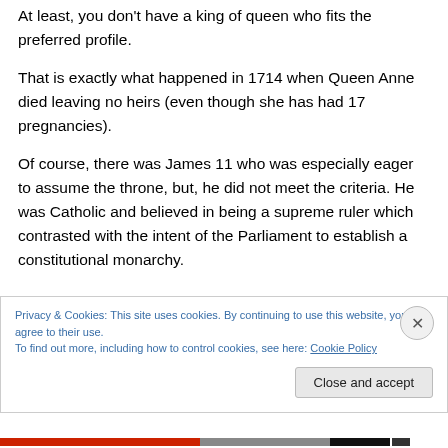At least, you don't have a king of queen who fits the preferred profile.
That is exactly what happened in 1714 when Queen Anne died leaving no heirs (even though she has had 17 pregnancies).
Of course, there was James 11 who was especially eager to assume the throne, but, he did not meet the criteria. He was Catholic and believed in being a supreme ruler which contrasted with the intent of the Parliament to establish a constitutional monarchy.
Privacy & Cookies: This site uses cookies. By continuing to use this website, you agree to their use.
To find out more, including how to control cookies, see here: Cookie Policy